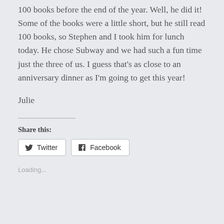100 books before the end of the year. Well, he did it! Some of the books were a little short, but he still read 100 books, so Stephen and I took him for lunch today. He chose Subway and we had such a fun time just the three of us. I guess that’s as close to an anniversary dinner as I’m going to get this year!
Julie
Share this:
Twitter
Facebook
Loading...